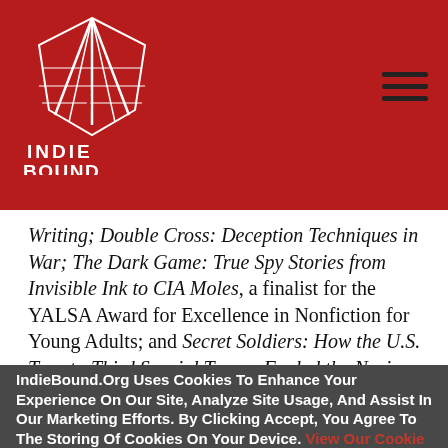[Figure (logo): IndieBound logo — white feather/book icon with 'INDIE BOUND' text below on red background]
Writing; Double Cross: Deception Techniques in War; The Dark Game: True Spy Stories from Invisible Ink to CIA Moles, a finalist for the YALSA Award for Excellence in Nonfiction for Young Adults; and Secret Soldiers: How the U.S. Twenty-Third Special Troops Fooled the Nazis
IndieBound.Org Uses Cookies To Enhance Your Experience On Our Site, Analyze Site Usage, And Assist In Our Marketing Efforts. By Clicking Accept, You Agree To The Storing Of Cookies On Your Device. View Our Cookie Policy.
Give me more info
Accept all Cookies